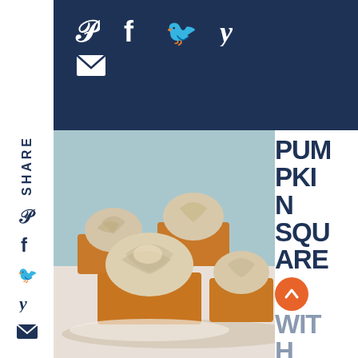[Figure (screenshot): Dark navy blue top bar with social media icons: Pinterest (P), Facebook (f), Twitter bird, Yummly (y), and email envelope icon]
SHARE
[Figure (photo): Close-up photo of pumpkin squares (bar cake pieces) topped with swirled cinnamon cream cheese frosting, on a light background]
PUMPKIN SQUARES WITH